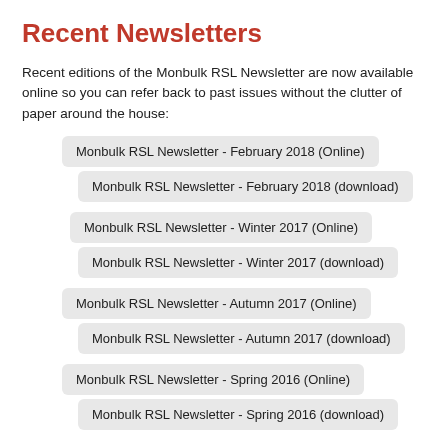Recent Newsletters
Recent editions of the Monbulk RSL Newsletter are now available online so you can refer back to past issues without the clutter of paper around the house:
Monbulk RSL Newsletter - February 2018 (Online)
Monbulk RSL Newsletter - February 2018 (download)
Monbulk RSL Newsletter - Winter 2017 (Online)
Monbulk RSL Newsletter - Winter 2017 (download)
Monbulk RSL Newsletter - Autumn 2017 (Online)
Monbulk RSL Newsletter - Autumn 2017 (download)
Monbulk RSL Newsletter - Spring 2016 (Online)
Monbulk RSL Newsletter - Spring 2016 (download)